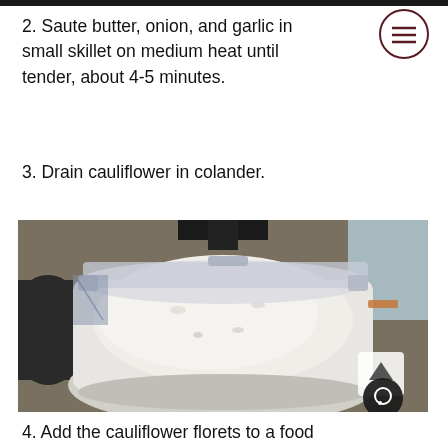2. Saute butter, onion, and garlic in small skillet on medium heat until tender, about 4-5 minutes.
3. Drain cauliflower in colander.
[Figure (photo): Photo of a food processor bowl filled with a creamy white mixture, with a clear lid on top. Kitchen countertop setting.]
4. Add the cauliflower florets to a food